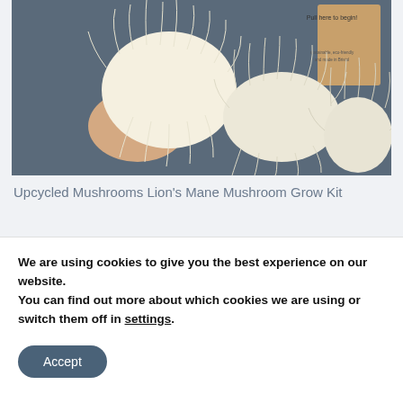[Figure (photo): A hand holding a large white Lion's Mane mushroom with other mushrooms laid out on a blue-grey surface. A product box with text 'Pull here to begin!' and 'sustainable, eco-friendly and made in Bristol' is visible in the background.]
Upcycled Mushrooms Lion's Mane Mushroom Grow Kit
Summary
Lion's Mane delivers on all levels. It is not
We are using cookies to give you the best experience on our website.
You can find out more about which cookies we are using or switch them off in settings.
Accept